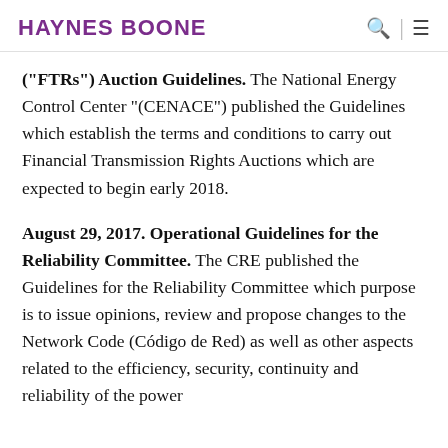HAYNES BOONE
("FTRs") Auction Guidelines. The National Energy Control Center "(CENACE") published the Guidelines which establish the terms and conditions to carry out Financial Transmission Rights Auctions which are expected to begin early 2018.
August 29, 2017. Operational Guidelines for the Reliability Committee. The CRE published the Guidelines for the Reliability Committee which purpose is to issue opinions, review and propose changes to the Network Code (Código de Red) as well as other aspects related to the efficiency, security, continuity and reliability of the power